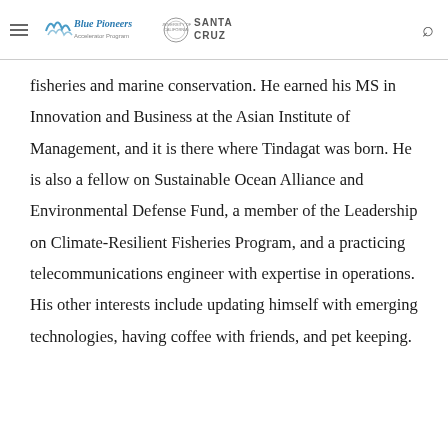Blue Pioneers Accelerator Program | University of California Santa Cruz
fisheries and marine conservation. He earned his MS in Innovation and Business at the Asian Institute of Management, and it is there where Tindagat was born. He is also a fellow on Sustainable Ocean Alliance and Environmental Defense Fund, a member of the Leadership on Climate-Resilient Fisheries Program, and a practicing telecommunications engineer with expertise in operations. His other interests include updating himself with emerging technologies, having coffee with friends, and pet keeping.